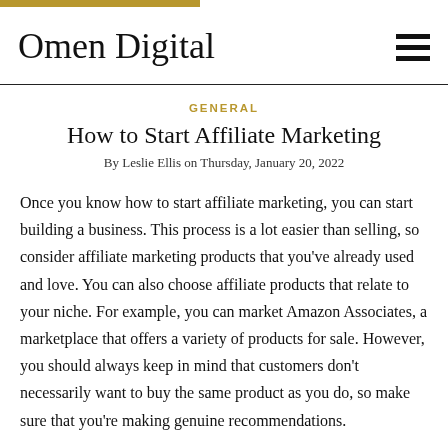Omen Digital
GENERAL
How to Start Affiliate Marketing
By Leslie Ellis on Thursday, January 20, 2022
Once you know how to start affiliate marketing, you can start building a business. This process is a lot easier than selling, so consider affiliate marketing products that you've already used and love. You can also choose affiliate products that relate to your niche. For example, you can market Amazon Associates, a marketplace that offers a variety of products for sale. However, you should always keep in mind that customers don't necessarily want to buy the same product as you do, so make sure that you're making genuine recommendations.
Once you've decided to pursue affiliate marketing, you'll need to know the different types of...
[Figure (other): Thumbnail image with text 'HOW DOES AFFILIATE MARKETING WORK?' with yellow arrow graphic]